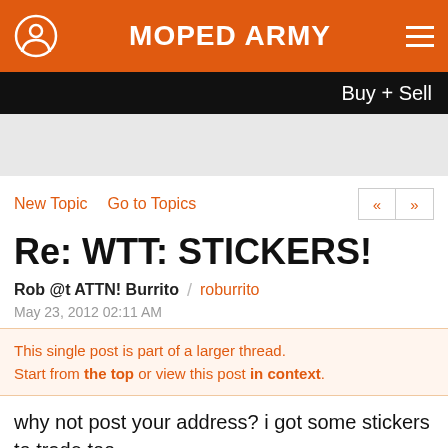MOPED ARMY
Buy + Sell
New Topic   Go to Topics
Re: WTT: STICKERS!
Rob @t ATTN! Burrito / roburrito
May 23, 2012 02:11 AM
This single post is part of a larger thread. Start from the top or view this post in context.
why not post your address? i got some stickers to trade too